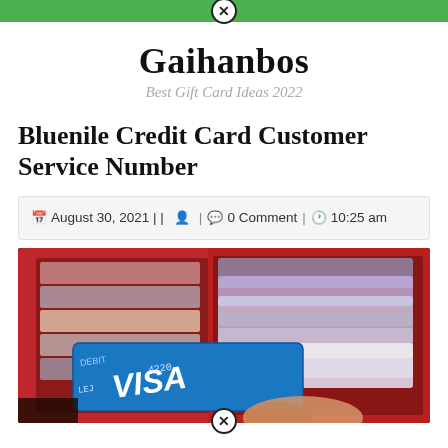Gaihanbos — Best Gift Card Ideas 2022
Gaihanbos
Best Gift Card Ideas 2022
Bluenile Credit Card Customer Service Number
August 30, 2021 | | | 0 Comment | 10:25 am
[Figure (photo): Photo of an open red leather wallet with multiple credit cards including a blue Visa debit card being held by a hand]